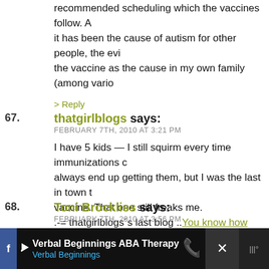recommended scheduling which the vaccines follow. it has been the cause of autism for other people, the evidence points to the vaccine as the cause in my own family (among vario
> Reply
67. thatgirlblogs says:
FEBRUARY 7TH, 2010 AT 3:21 PM

I have 5 kids — I still squirm every time immunizations come, always end up getting them, but I was the last in town to get the vaccine. That one still freaks me.
.-= thatgirlblogs´s last blog ..You know how some people treat their dogs? =-.
> Reply
68. Toni Brockliss says:
FEBRUARY 7TH, 2010 AT 3:56 PM

I posted last night and woke up this morning (in Austra to read the comments.
Verbal Beginnings ABA Therapy
Verbal Beginnings